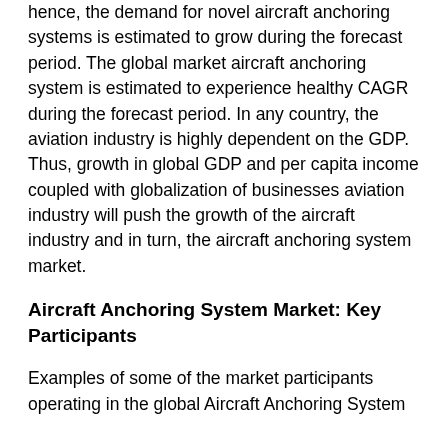hence, the demand for novel aircraft anchoring systems is estimated to grow during the forecast period. The global market aircraft anchoring system is estimated to experience healthy CAGR during the forecast period. In any country, the aviation industry is highly dependent on the GDP. Thus, growth in global GDP and per capita income coupled with globalization of businesses aviation industry will push the growth of the aircraft industry and in turn, the aircraft anchoring system market.
Aircraft Anchoring System Market: Key Participants
Examples of some of the market participants operating in the global Aircraft Anchoring System